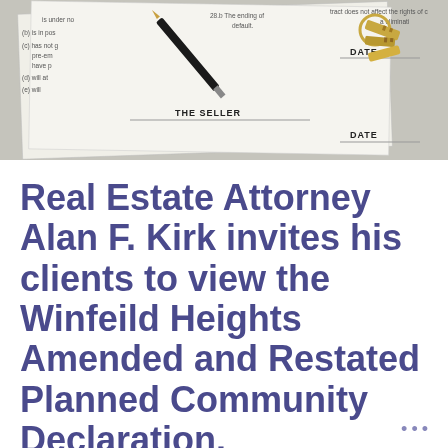[Figure (photo): Photo of a real estate contract document with a pen resting on it and keys on top, with visible text reading 'THE SELLER' and 'DATE' labels on the document]
Real Estate Attorney Alan F. Kirk invites his clients to view the Winfeild Heights Amended and Restated Planned Community Declaration.
For Legal Advice Contact Alan Kirk, a reliable State College Real Estate Attorney.